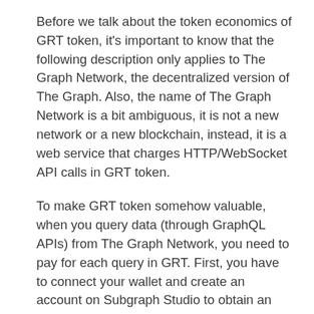Before we talk about the token economics of GRT token, it's important to know that the following description only applies to The Graph Network, the decentralized version of The Graph. Also, the name of The Graph Network is a bit ambiguous, it is not a new network or a new blockchain, instead, it is a web service that charges HTTP/WebSocket API calls in GRT token.
To make GRT token somehow valuable, when you query data (through GraphQL APIs) from The Graph Network, you need to pay for each query in GRT. First, you have to connect your wallet and create an account on Subgraph Studio to obtain an API key, then you deposit some GRT tokens into the account's billing balance on Polygon since their billing contract is built on Polygon. At the end of each week, if you used your API keys to query data, you will receive an invoice based on the query fees you have generated during this period. This invoice will be paid using GRT available in your balance.